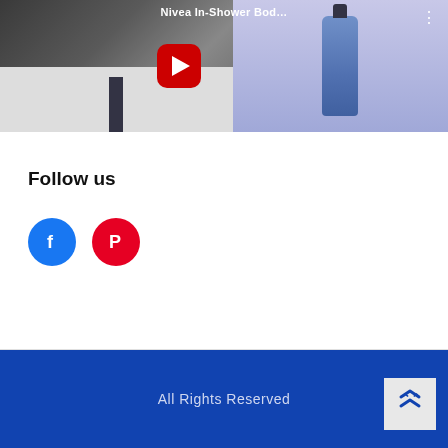[Figure (screenshot): YouTube video thumbnail showing a man in a white shirt and tie next to a Nivea In-Shower Body product, with a red YouTube play button overlay and title 'Nivea In-Shower Bod...' and three-dot menu icon]
Follow us
[Figure (infographic): Two circular social media icons: Facebook (blue circle with 'f' logo) and Pinterest (red circle with 'P' logo)]
All Rights Reserved